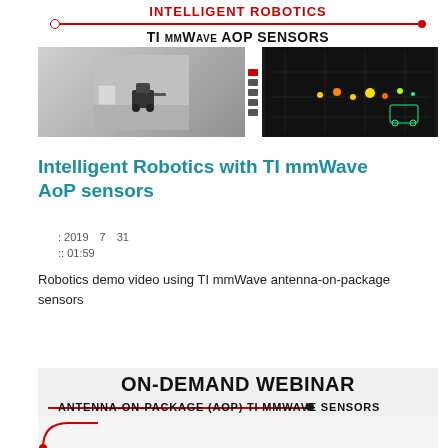[Figure (screenshot): Intelligent Robotics with TI mmWave AOP Sensors video thumbnail showing a robot in a room and radar display]
Intelligent Robotics with TI mmWave AoP sensors
: 2019 7 31
:: 01:59
Robotics demo video using TI mmWave antenna-on-package sensors
[Figure (screenshot): On-Demand Webinar: Antenna-on-Package (AoP) TI mmWave Sensors thumbnail]